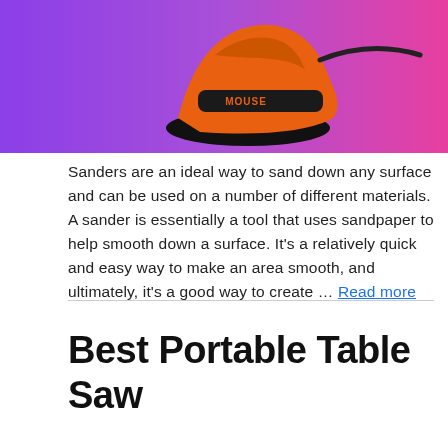[Figure (photo): Photo of an orange and black mouse sander tool against a purple-to-pink gradient background. The sander is labeled 'MOUSE' in orange text.]
Sanders are an ideal way to sand down any surface and can be used on a number of different materials. A sander is essentially a tool that uses sandpaper to help smooth down a surface. It's a relatively quick and easy way to make an area smooth, and ultimately, it's a good way to create … Read more
Best Portable Table Saw